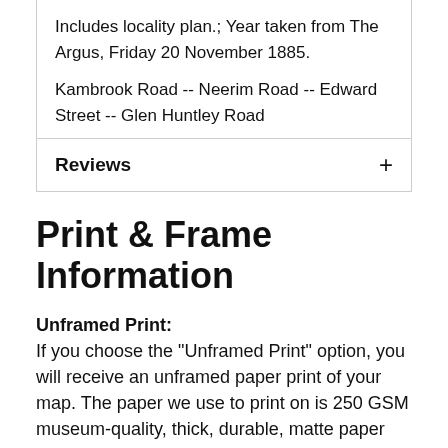Includes locality plan.; Year taken from The Argus, Friday 20 November 1885.
Kambrook Road -- Neerim Road -- Edward Street -- Glen Huntley Road
Reviews
Print & Frame Information
Unframed Print:
If you choose the "Unframed Print" option, you will receive an unframed paper print of your map. The paper we use to print on is 250 GSM museum-quality, thick, durable, matte paper